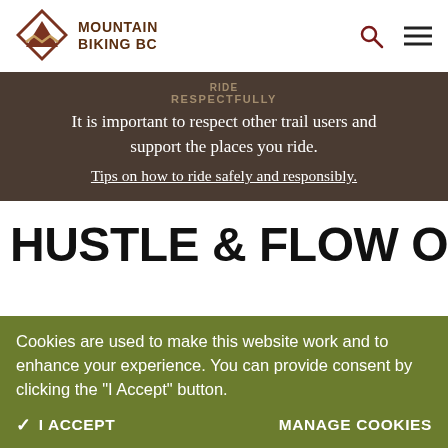MOUNTAIN BIKING BC
RIDE RESPECTFULLY
It is important to respect other trail users and support the places you ride.
Tips on how to ride safely and responsibly.
HUSTLE & FLOW ON THE
Cookies are used to make this website work and to enhance your experience. You can provide consent by clicking the "I Accept" button.
✓ I ACCEPT    MANAGE COOKIES